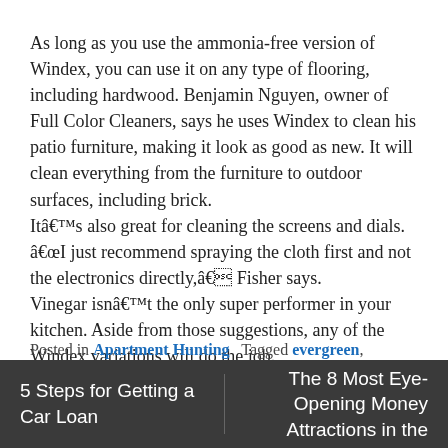As long as you use the ammonia-free version of Windex, you can use it on any type of flooring, including hardwood. Benjamin Nguyen, owner of Full Color Cleaners, says he uses Windex to clean his patio furniture, making it look as good as new. It will clean everything from the furniture to outdoor surfaces, including brick. Itâs also great for cleaning the screens and dials. âI just recommend spraying the cloth first and not the electronics directly,â Fisher says. Vinegar isnât the only super performer in your kitchen. Aside from those suggestions, any of the Windex variations will do the job.
Posted in Apartment Hunting   Tagged evergreen, Financial Wize, FinancialWize, freelancers, Original, Products, Save Money
5 Steps for Getting a Car Loan
The 8 Most Eye-Opening Money Attractions in the